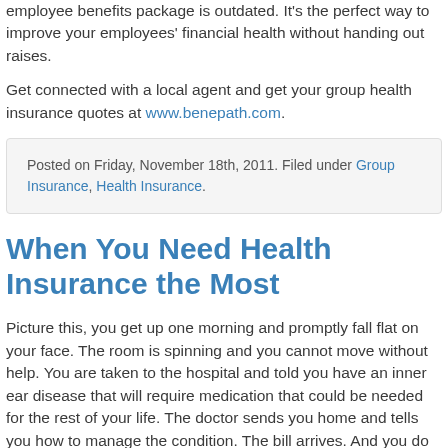employee benefits package is outdated. It's the perfect way to improve your employees' financial health without handing out raises.
Get connected with a local agent and get your group health insurance quotes at www.benepath.com.
Posted on Friday, November 18th, 2011. Filed under Group Insurance, Health Insurance.
When You Need Health Insurance the Most
Picture this, you get up one morning and promptly fall flat on your face. The room is spinning and you cannot move without help. You are taken to the hospital and told you have an inner ear disease that will require medication that could be needed for the rest of your life. The doctor sends you home and tells you how to manage the condition. The bill arrives. And you do not have health insurance.
Now what? You certainly do not have the $20,000 or more to pay for